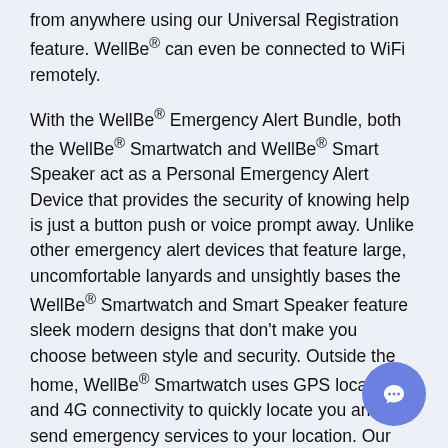from anywhere using our Universal Registration feature. WellBe® can even be connected to WiFi remotely.
With the WellBe® Emergency Alert Bundle, both the WellBe® Smartwatch and WellBe® Smart Speaker act as a Personal Emergency Alert Device that provides the security of knowing help is just a button push or voice prompt away. Unlike other emergency alert devices that feature large, uncomfortable lanyards and unsightly bases the WellBe® Smartwatch and Smart Speaker feature sleek modern designs that don't make you choose between style and security. Outside the home, WellBe® Smartwatch uses GPS location and 4G connectivity to quickly locate you and send emergency services to your location. Our dedicated US-based call center is there to answer the call 24/7/365.
[Figure (other): Blue circular chat/support button icon in bottom-right corner]